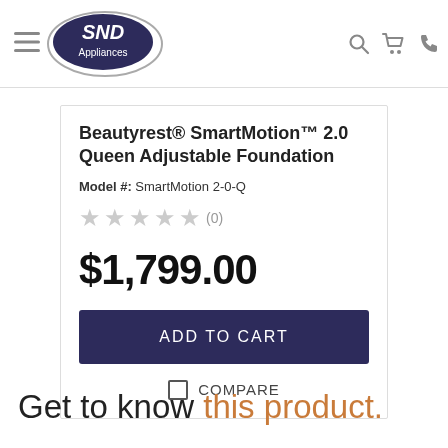SND Appliances
Beautyrest® SmartMotion™ 2.0 Queen Adjustable Foundation
Model #: SmartMotion 2-0-Q
★★★★★ (0)
$1,799.00
ADD TO CART
COMPARE
Get to know this product.